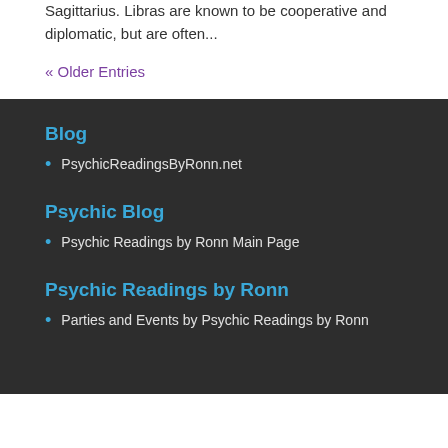Sagittarius. Libras are known to be cooperative and diplomatic, but are often...
« Older Entries
Blog
PsychicReadingsByRonn.net
Psychic Blog
Psychic Readings by Ronn Main Page
Psychic Readings by Ronn
Parties and Events by Psychic Readings by Ronn